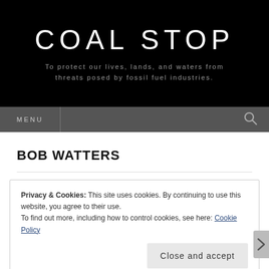COAL STOP
To protect our lives, lands, and waters from threats posed by fossil fuel industries.
MENU
BOB WATTERS
Privacy & Cookies: This site uses cookies. By continuing to use this website, you agree to their use.
To find out more, including how to control cookies, see here: Cookie Policy
Close and accept
Advertisements